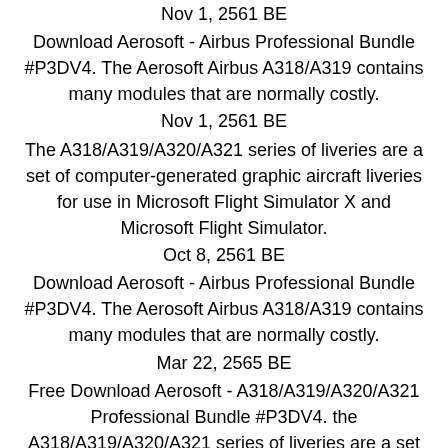Nov 1, 2561 BE
Download Aerosoft - Airbus Professional Bundle #P3DV4. The Aerosoft Airbus A318/A319 contains many modules that are normally costly.
Nov 1, 2561 BE
The A318/A319/A320/A321 series of liveries are a set of computer-generated graphic aircraft liveries for use in Microsoft Flight Simulator X and Microsoft Flight Simulator.
Oct 8, 2561 BE
Download Aerosoft - Airbus Professional Bundle #P3DV4. The Aerosoft Airbus A318/A319 contains many modules that are normally costly.
Mar 22, 2565 BE
Free Download Aerosoft - A318/A319/A320/A321 Professional Bundle #P3DV4. the A318/A319/A320/A321 series of liveries are a set of computer-generated graphic aircraft liveries for use in Microsoft Flight Simulator X and Microsoft Flight